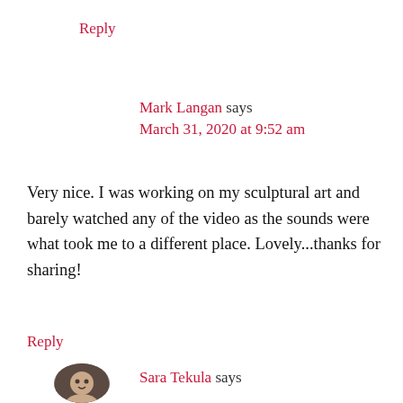Reply
Mark Langan says
March 31, 2020 at 9:52 am
Very nice. I was working on my sculptural art and barely watched any of the video as the sounds were what took me to a different place. Lovely...thanks for sharing!
Reply
Sara Tekula says